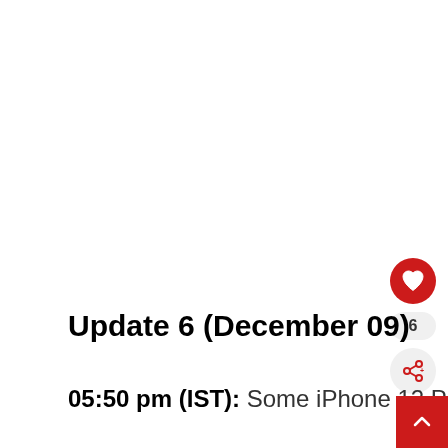Update 6 (December 09)
05:50 pm (IST): Some iPhone 12 Pro Max users are also experiencing a fe